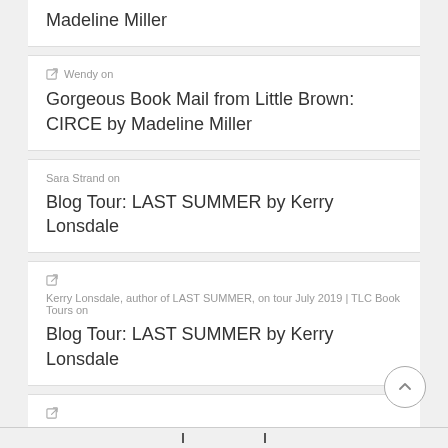Madeline Miller
Wendy on
Gorgeous Book Mail from Little Brown: CIRCE by Madeline Miller
Sara Strand on
Blog Tour: LAST SUMMER by Kerry Lonsdale
Kerry Lonsdale, author of LAST SUMMER, on tour July 2019 | TLC Book Tours on
Blog Tour: LAST SUMMER by Kerry Lonsdale
Suzy Krause, author of VALENCIA AND VALENTINE, on tour June 2019 | TLC Book Tours on
Blog Tour & Review: VALENCIA AND VALENTINE by Suzy Krause